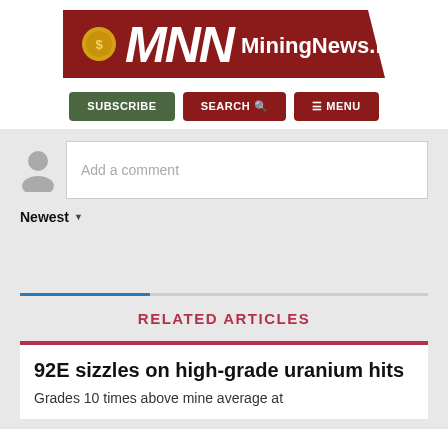[Figure (logo): MiningNews.net logo with red background, stylized MNN letters, gold coin, and white text]
SUBSCRIBE  SEARCH  MENU
Add a comment
Newest
RELATED ARTICLES
92E sizzles on high-grade uranium hits
Grades 10 times above mine average at